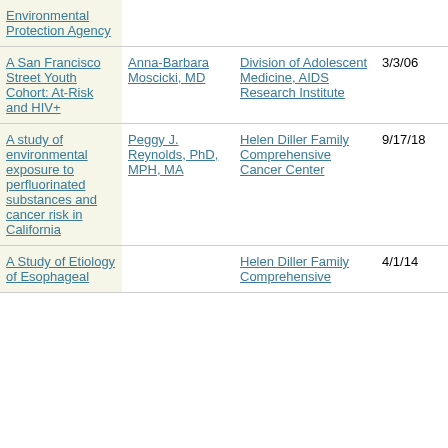| Environmental Protection Agency |  |  |  |  |
| A San Francisco Street Youth Cohort: At-Risk and HIV+ | Anna-Barbara Moscicki, MD | Division of Adolescent Medicine, AIDS Research Institute | 3/3/06 | 2/28/13 |
| A study of environmental exposure to perfluorinated substances and cancer risk in California | Peggy J. Reynolds, PhD, MPH, MA | Helen Diller Family Comprehensive Cancer Center | 9/17/18 | 9/16/19 |
| A Study of Etiology of Esophageal... |  | Helen Diller Family Comprehensive... | 4/1/14 | 9/25/15 |